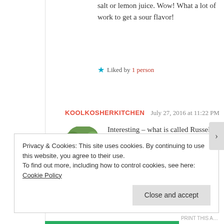salt or lemon juice. Wow! What a lot of work to get a sour flavor!
Liked by 1 person
KOOLKOSHERKITCHEN   July 27, 2016 at 11:22 PM
[Figure (photo): Round avatar photo of a woman with glasses and short dark hair]
Interesting – what is called Russel? I just buy Sour Salt in any kosher grocery. Actually, pickling beats is not a lot of work at all – I pickle practically everything!
Privacy & Cookies: This site uses cookies. By continuing to use this website, you agree to their use. To find out more, including how to control cookies, see here: Cookie Policy
Close and accept